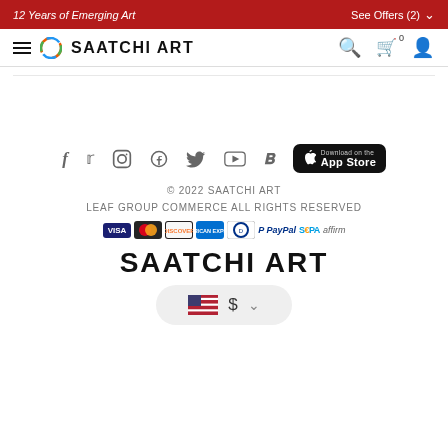12 Years of Emerging Art — See Offers (2)
[Figure (logo): Saatchi Art navigation bar with hamburger menu, circular logo, SAATCHI ART text, search icon, cart icon (0), user icon]
[Figure (infographic): Social media icons: Facebook, Twitter, Instagram, Pinterest, YouTube, TikTok and Download on the App Store button]
© 2022 SAATCHI ART
LEAF GROUP COMMERCE ALL RIGHTS RESERVED
[Figure (infographic): Payment method logos: VISA, Mastercard, Discover, American Express, Diners Club, PayPal, SEPA, Affirm]
SAATCHI ART
[Figure (infographic): US flag with dollar sign currency selector dropdown button]